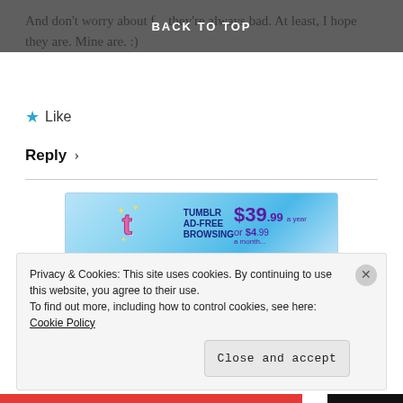BACK TO TOP
And don't worry about f—they're always bad. At least, I hope they are. Mine are. :)
★ Like
Reply ›
[Figure (screenshot): Tumblr Ad-Free Browsing advertisement banner. Shows Tumblr 't' logo with sparkles, text 'TUMBLR AD-FREE BROWSING', price '$39.99 a year or $4.99 a month']
REPORT THIS AD
Rebecca Belliston says:
Privacy & Cookies: This site uses cookies. By continuing to use this website, you agree to their use.
To find out more, including how to control cookies, see here: Cookie Policy
Close and accept